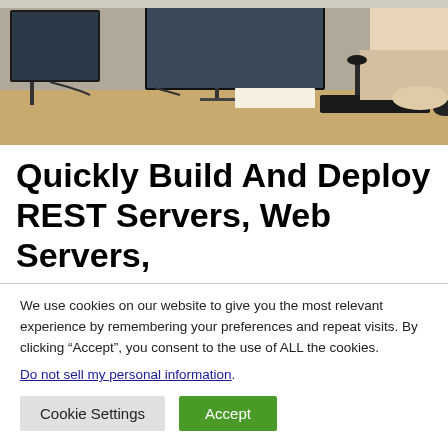[Figure (photo): Office desk scene with person typing on keyboard, monitors visible in background]
Quickly Build And Deploy REST Servers, Web Servers,
We use cookies on our website to give you the most relevant experience by remembering your preferences and repeat visits. By clicking “Accept”, you consent to the use of ALL the cookies.
Do not sell my personal information.
Cookie Settings  Accept